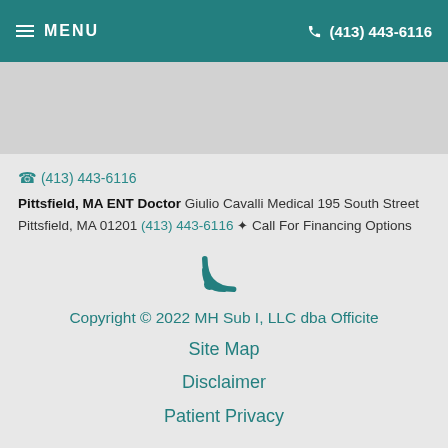MENU | (413) 443-6116
(413) 443-6116
Pittsfield, MA ENT Doctor Giulio Cavalli Medical 195 South Street Pittsfield, MA 01201 (413) 443-6116 ✦ Call For Financing Options
[Figure (illustration): RSS/WiFi signal icon in teal color]
Copyright © 2022 MH Sub I, LLC dba Officite
Site Map
Disclaimer
Patient Privacy